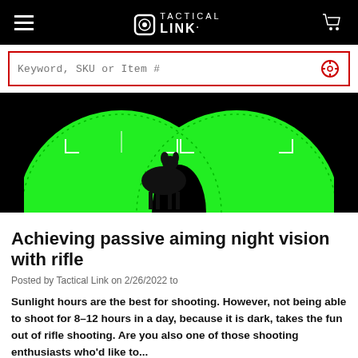TACTICAL LINK
[Figure (screenshot): Search bar with red border, placeholder text 'Keyword, SKU or Item #' and a red crosshair/target icon on the right]
[Figure (photo): Night vision binocular view showing a deer grazing in a green-tinted field, with crosshair reticle overlays and circular lens frames against a black background]
Achieving passive aiming night vision with rifle
Posted by Tactical Link on 2/26/2022 to
Sunlight hours are the best for shooting. However, not being able to shoot for 8-12 hours in a day, because it is dark, takes the fun out of rifle shooting. Are you also one of those shooting enthusiasts who'd like to...